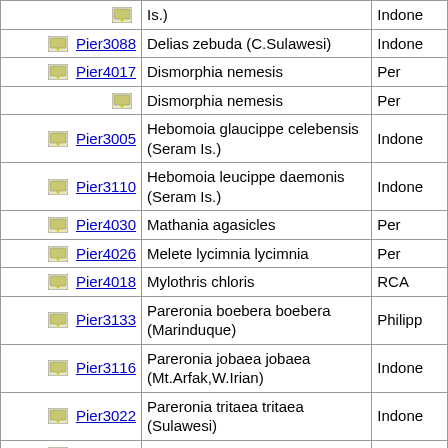| ID | Species | Country |
| --- | --- | --- |
|  | Is.) | Indone |
| Pier3088 | Delias zebuda (C.Sulawesi) | Indone |
| Pier4017 | Dismorphia nemesis | Per |
|  | Dismorphia nemesis | Per |
| Pier3005 | Hebomoia glaucippe celebensis (Seram Is.) | Indone |
| Pier3110 | Hebomoia leucippe daemonis (Seram Is.) | Indone |
| Pier4030 | Mathania agasicles | Per |
| Pier4026 | Melete lycimnia lycimnia | Per |
| Pier4018 | Mylothris chloris | RCA |
| Pier3133 | Pareronia boebera boebera (Marinduque) | Philipp |
| Pier3116 | Pareronia jobaea jobaea (Mt.Arfak,W.Irian) | Indone |
| Pier3022 | Pareronia tritaea tritaea (Sulawesi) | Indone |
| Pier3114 | Pareronia valeria lutescens | Malay |
| Pier4014 | Perrhybris pyrrha carmenta (A-) | Per |
| Pier4009 | Phoebis argante argante | Per |